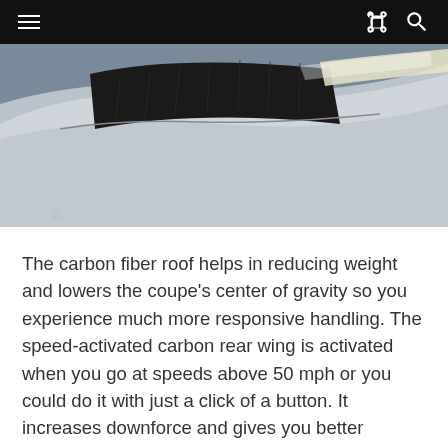Navigation bar with hamburger menu, share icon, and search icon
[Figure (photo): Close-up photograph of a carbon fiber roof panel and spoiler on a sports car, showing grey/silver bodywork with a black carbon fiber section and stripe detail.]
The carbon fiber roof helps in reducing weight and lowers the coupe's center of gravity so you experience much more responsive handling. The speed-activated carbon rear wing is activated when you go at speeds above 50 mph or you could do it with just a click of a button. It increases downforce and gives you better aerodynamics, helping to keep you firmly planted on the ground at high speeds. The lightweight carbon fiber wing also gives you the